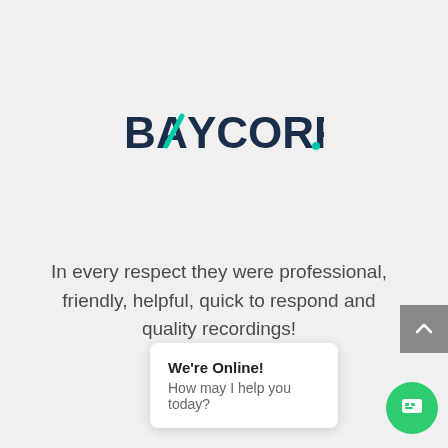[Figure (logo): BAYCORP logo with teal slash/diagonal mark on the A and teal dot after the period, dark navy blue lettering]
In every respect they were professional, friendly, helpful, quick to respond and quality recordings!
LISA DAVIES
[Figure (screenshot): Chat widget showing 'We're Online! How may I help you today?' with a green circular chat icon button]